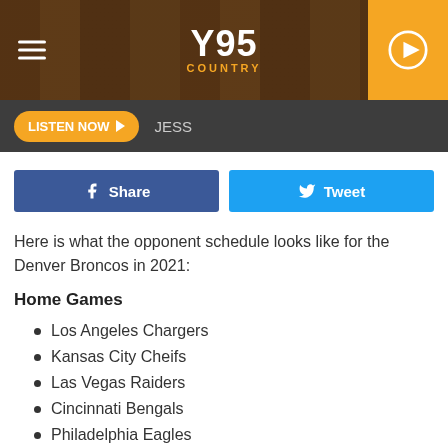Y95 COUNTRY
LISTEN NOW  JESS
[Figure (other): Facebook Share button and Twitter Tweet button]
Here is what the opponent schedule looks like for the Denver Broncos in 2021:
Home Games
Los Angeles Chargers
Kansas City Cheifs
Las Vegas Raiders
Cincinnati Bengals
Philadelphia Eagles
Baltimore Ravens
Washington Football Team
New York Jets (partial, cut off)